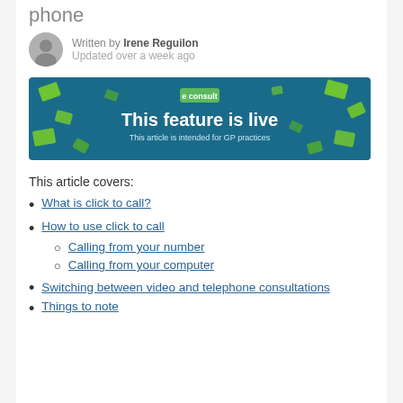phone
Written by Irene Reguilon
Updated over a week ago
[Figure (illustration): eConsult banner with teal/blue background and green confetti shapes. Center text: 'This feature is live'. Sub-text: 'This article is intended for GP practices'. Small green 'e consult' logo at top.]
This article covers:
What is click to call?
How to use click to call
Calling from your number
Calling from your computer
Switching between video and telephone consultations
Things to note